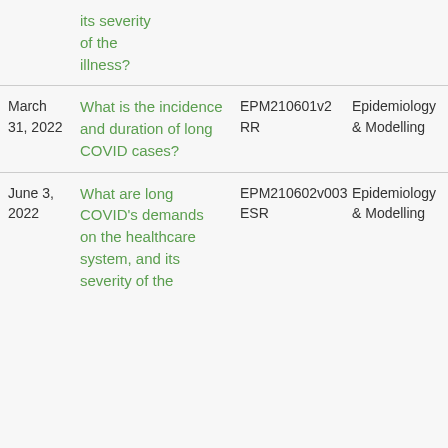| Date | Question | Code | Category |
| --- | --- | --- | --- |
|  | its severity of the illness? |  |  |
| March 31, 2022 | What is the incidence and duration of long COVID cases? | EPM210601v2 RR | Epidemiology & Modelling |
| June 3, 2022 | What are long COVID's demands on the healthcare system, and its severity of the | EPM210602v003 ESR | Epidemiology & Modelling |